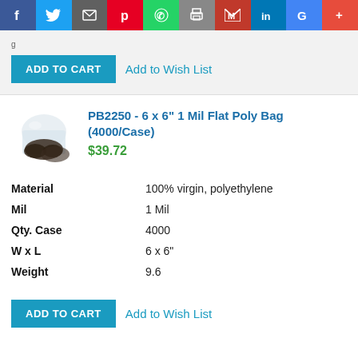[Figure (other): Social media sharing bar with icons for Facebook, Twitter, Email, Pinterest, WhatsApp, Print, Gmail, LinkedIn, Google, and More]
[Figure (other): ADD TO CART button (blue) with Add to Wish List link beside it, on grey background]
[Figure (photo): Small product photo of poly bags with dark contents visible inside clear plastic bags]
PB2250 - 6 x 6" 1 Mil Flat Poly Bag (4000/Case)
$39.72
| Property | Value |
| --- | --- |
| Material | 100% virgin, polyethylene |
| Mil | 1 Mil |
| Qty. Case | 4000 |
| W x L | 6 x 6" |
| Weight | 9.6 |
[Figure (other): ADD TO CART button (blue) with Add to Wish List link beside it]